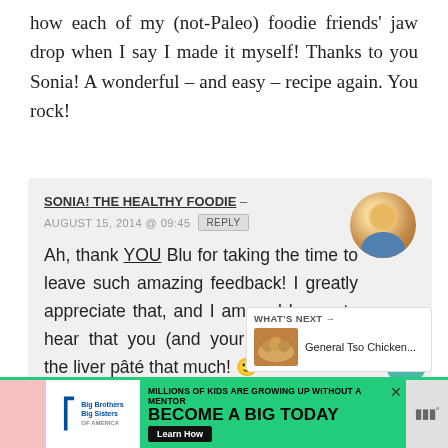how each of my (not-Paleo) foodie friends' jaw drop when I say I made it myself! Thanks to you Sonia! A wonderful – and easy – recipe again. You rock!
SONIA! THE HEALTHY FOODIE – AUGUST 15, 2014 @ 09:45 REPLY
Ah, thank YOU Blu for taking the time to leave such amazing feedback! I greatly appreciate that, and I am real happy to hear that you (and your friends) liked the liver pâté that much! 🙂
[Figure (infographic): Big Brothers Big Sisters advertisement: MILLIONS OF KIDS ARE GROWING UP WITHOUT A MENTOR. BECOME A BIG TODAY. Learn How.]